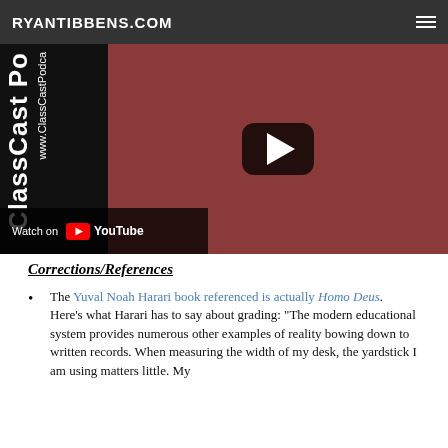RYANTIBBENS.COM
[Figure (screenshot): Embedded YouTube video thumbnail showing a woman in a red top with a play button overlay. Left side shows ClassCast Podcast branding text. Bottom left shows 'Watch on YouTube' bar.]
Corrections/References
The Yuval Noah Harari book referenced is actually Homo Deus.  Here's what Harari has to say about grading: "The modern educational system provides numerous other examples of reality bowing down to written records. When measuring the width of my desk, the yardstick I am using matters little. My